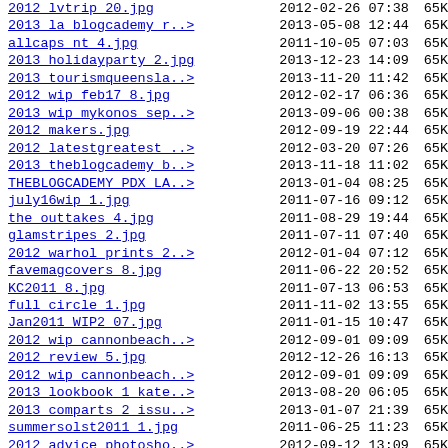| Name | Date | Size |
| --- | --- | --- |
| 2012 lvtrip 20.jpg | 2012-02-26 07:38 | 65K |
| 2013 la blogcademy r..> | 2013-05-08 12:44 | 65K |
| allcaps nt 4.jpg | 2011-10-05 07:03 | 65K |
| 2013 holidayparty 2.jpg | 2013-12-23 14:09 | 65K |
| 2013 tourismqueensla..> | 2013-11-20 11:42 | 65K |
| 2012 wip feb17 8.jpg | 2012-02-17 06:36 | 65K |
| 2013 wip mykonos sep..> | 2013-09-06 00:38 | 65K |
| 2012 makers.jpg | 2012-09-19 22:44 | 65K |
| 2012 latestgreatest ..> | 2012-03-20 07:26 | 65K |
| 2013 theblogcademy b..> | 2013-11-18 11:02 | 65K |
| THEBLOGCADEMY PDX LA..> | 2013-01-04 08:25 | 65K |
| july16wip 1.jpg | 2011-07-16 09:12 | 65K |
| the outtakes 4.jpg | 2011-08-29 19:44 | 65K |
| glamstripes 2.jpg | 2011-07-11 07:40 | 65K |
| 2012 warhol prints 2..> | 2012-01-04 07:12 | 65K |
| favemagcovers 8.jpg | 2011-06-22 20:52 | 65K |
| KC2011 8.jpg | 2011-07-13 06:53 | 65K |
| full circle 1.jpg | 2011-11-02 13:55 | 65K |
| Jan2011 WIP2 07.jpg | 2011-01-15 10:47 | 65K |
| 2012 wip cannonbeach..> | 2012-09-01 09:09 | 65K |
| 2012 review 5.jpg | 2012-12-26 16:13 | 65K |
| 2012 wip cannonbeach..> | 2012-09-01 09:09 | 65K |
| 2013 lookbook 1 kate..> | 2013-08-20 06:05 | 65K |
| 2013 comparts 2 issu..> | 2013-01-07 21:39 | 65K |
| summersolst2011 1.jpg | 2011-06-25 11:23 | 65K |
| 2012 advice photosho..> | 2012-09-12 13:09 | 65K |
| nycwip sept17 51.jpg | 2011-09-17 16:59 | 65K |
| 2012 jan20 wip 6.jpg | 2012-01-21 11:57 | 65K |
| 2012 wip jan27 7.jpg | 2012-01-27 11:57 | 65K |
| whatiwore jan30 seat..> | 2011-02-02 20:44 | 65K |